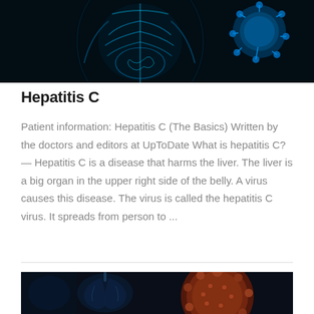[Figure (photo): Medical illustration showing human torso with visible digestive organs in teal/cyan x-ray style on dark background, alongside a 3D rendering of a virus particle]
Hepatitis C
Patient information: Hepatitis C (The Basics) Written by the doctors and editors at UpToDate What is hepatitis C? — Hepatitis C is a disease that harms the liver. The liver is a big organ in the upper right side of the belly. A virus causes this disease. The virus is called the hepatitis C virus. It spreads from person to ...
[Figure (photo): Medical illustration showing human torso with lungs in dark x-ray style alongside a large reddish-brown virus particle with detailed surface texture]